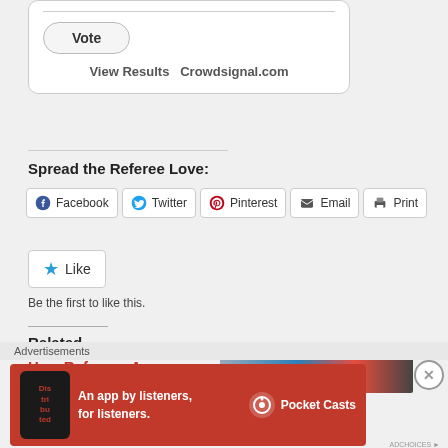[Figure (screenshot): Poll widget with Vote button and View Results / Crowdsignal.com links]
Spread the Referee Love:
[Figure (infographic): Social sharing buttons: Facebook, Twitter, Pinterest, Email, Print]
[Figure (infographic): Like button with star icon]
Be the first to like this.
Related
How Referees Are
[Figure (photo): Thumbnail image for related article about referees]
Advertisements
[Figure (infographic): Pocket Casts advertisement: An app by listeners, for listeners.]